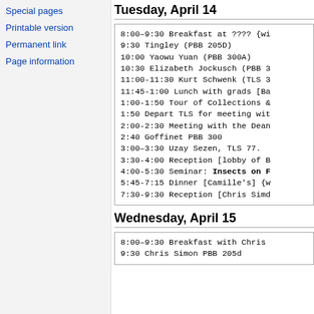Special pages
Printable version
Permanent link
Page information
Tuesday, April 14
8:00–9:30 Breakfast at ???? {wi
9:30 Tingley (PBB 205D)
10:00 Yaowu Yuan (PBB 300A)
10:30 Elizabeth Jockusch (PBB 3
11:00-11:30 Kurt Schwenk (TLS 3
11:45-1:00 Lunch with grads [Ba
1:00-1:50 Tour of Collections &
1:50 Depart TLS for meeting wit
2:00-2:30 Meeting with the Dean
2:40 Goffinet PBB 300
3:00–3:30 Uzay Sezen, TLS 77.
3:30-4:00 Reception [lobby of B
4:00-5:30 Seminar: Insects on F
5:45-7:15 Dinner [Camille's] {w
7:30-9:30 Reception [Chris Simd
Wednesday, April 15
8:00–9:30 Breakfast with Chris
9:30 Chris Simon PBB 205d